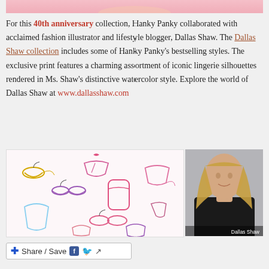[Figure (photo): Top cropped image showing pink background, partial view of person]
For this 40th anniversary collection, Hanky Panky collaborated with acclaimed fashion illustrator and lifestyle blogger, Dallas Shaw. The Dallas Shaw collection includes some of Hanky Panky's bestselling styles. The exclusive print features a charming assortment of iconic lingerie silhouettes rendered in Ms. Shaw's distinctive watercolor style. Explore the world of Dallas Shaw at www.dallasshaw.com
[Figure (photo): Left: watercolor illustration pattern of lingerie silhouettes on white background. Right: portrait photo of Dallas Shaw, a woman with long blonde hair wearing black, labeled 'Dallas Shaw']
Share / Save